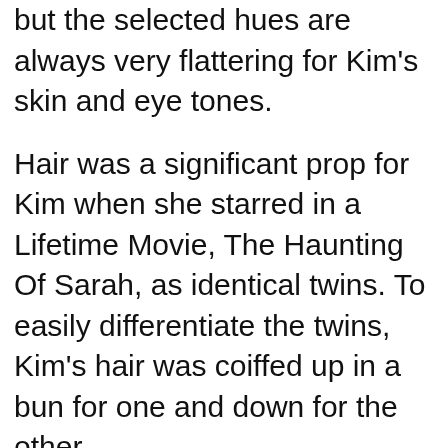but the selected hues are always very flattering for Kim's skin and eye tones.
Hair was a significant prop for Kim when she starred in a Lifetime Movie, The Haunting Of Sarah, as identical twins. To easily differentiate the twins, Kim's hair was coiffed up in a bun for one and down for the other.
Hair was a key component of Kim's look since it helped the viewers track which